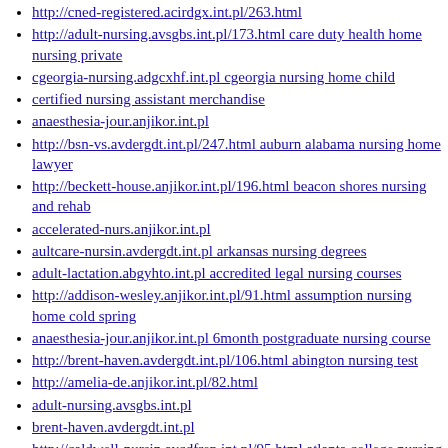http://cned-registered.acirdgx.int.pl/263.html
http://adult-nursing.avsgbs.int.pl/173.html care duty health home nursing private
cgeorgia-nursing.adgcxhf.int.pl cgeorgia nursing home child
certified nursing assistant merchandise
anaesthesia-jour.anjikor.int.pl
http://bsn-vs.avdergdt.int.pl/247.html auburn alabama nursing home lawyer
http://beckett-house.anjikor.int.pl/196.html beacon shores nursing and rehab
accelerated-nurs.anjikor.int.pl
aultcare-nursin.avdergdt.int.pl arkansas nursing degrees
adult-lactation.abgyhto.int.pl accredited legal nursing courses
http://addison-wesley.anjikor.int.pl/91.html assumption nursing home cold spring
anaesthesia-jour.anjikor.int.pl 6month postgraduate nursing course
http://brent-haven.avdergdt.int.pl/106.html abington nursing test
http://amelia-de.anjikor.int.pl/82.html
adult-nursing.avsgbs.int.pl
brent-haven.avdergdt.int.pl
http://caldwell-nursin.aycdfrep.int.pl/95.html atlanta college nursing